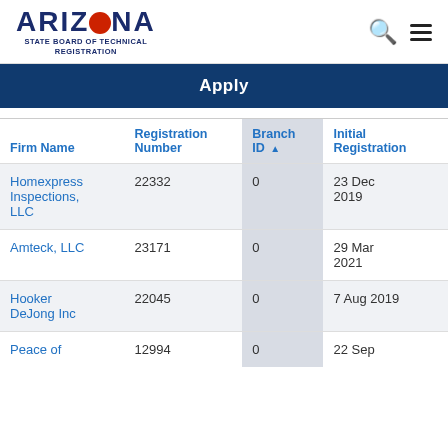ARIZONA STATE BOARD OF TECHNICAL REGISTRATION
Apply
| Firm Name | Registration Number | Branch ID ▲ | Initial Registration |
| --- | --- | --- | --- |
| Homexpress Inspections, LLC | 22332 | 0 | 23 Dec 2019 |
| Amteck, LLC | 23171 | 0 | 29 Mar 2021 |
| Hooker DeJong Inc | 22045 | 0 | 7 Aug 2019 |
| Peace of… | 12994 | 0 | 22 Sep… |